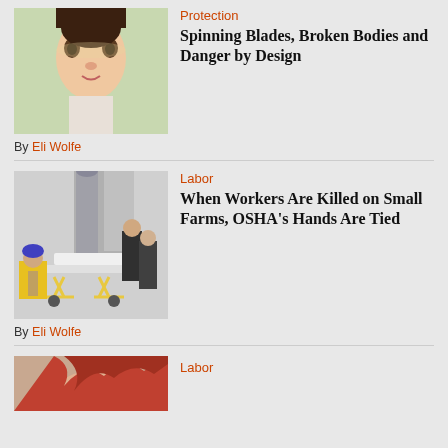[Figure (photo): Young girl smiling holding a flower outdoors with rocks in background]
Protection
Spinning Blades, Broken Bodies and Danger by Design
By Eli Wolfe
[Figure (photo): Emergency responders with a patient on a stretcher near a building]
Labor
When Workers Are Killed on Small Farms, OSHA's Hands Are Tied
By Eli Wolfe
[Figure (photo): Partial view of a person with red hair, cropped at bottom of page]
Labor